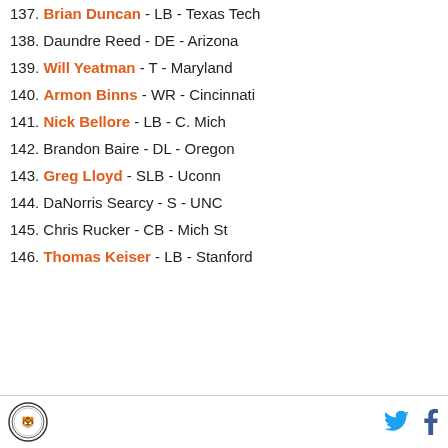137. Brian Duncan - LB - Texas Tech
138. Daundre Reed - DE - Arizona
139. Will Yeatman - T - Maryland
140. Armon Binns - WR - Cincinnati
141. Nick Bellore - LB - C. Mich
142. Brandon Baire - DL - Oregon
143. Greg Lloyd - SLB - Uconn
144. DaNorris Searcy - S - UNC
145. Chris Rucker - CB - Mich St
146. Thomas Keiser - LB - Stanford
Logo | Twitter | Facebook